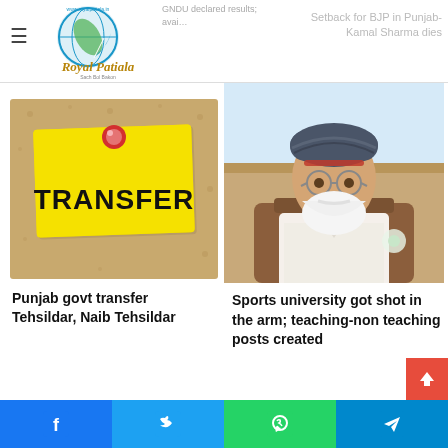Royal Patiala
GNDU declared results; available…
Setback for BJP in Punjab- Kamal Sharma dies
[Figure (photo): Yellow TRANSFER sign pinned on a cork bulletin board]
Punjab govt transfer Tehsildar, Naib Tehsildar
[Figure (photo): Portrait photo of an elderly Sikh man with white beard wearing a blue turban and glasses, seated indoors]
Sports university got shot in the arm; teaching-non teaching posts created
Facebook Twitter WhatsApp Telegram